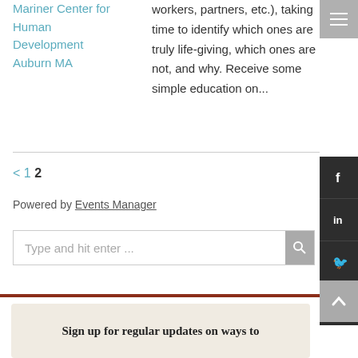Mariner Center for Human Development
Auburn MA
workers, partners, etc.), taking time to identify which ones are truly life-giving, which ones are not, and why. Receive some simple education on...
< 1 2
Powered by Events Manager
[Figure (screenshot): Search box with placeholder text 'Type and hit enter ...']
Sign up for regular updates on ways to...